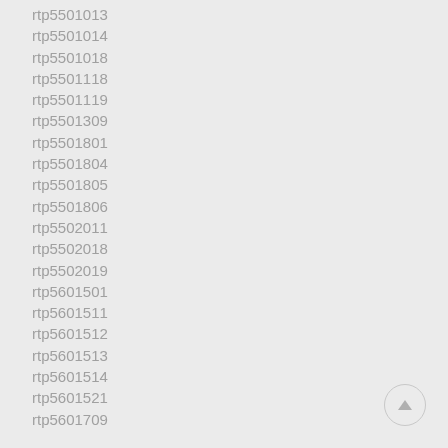rtp5501013
rtp5501014
rtp5501018
rtp5501118
rtp5501119
rtp5501309
rtp5501801
rtp5501804
rtp5501805
rtp5501806
rtp5502011
rtp5502018
rtp5502019
rtp5601501
rtp5601511
rtp5601512
rtp5601513
rtp5601514
rtp5601521
rtp5601709